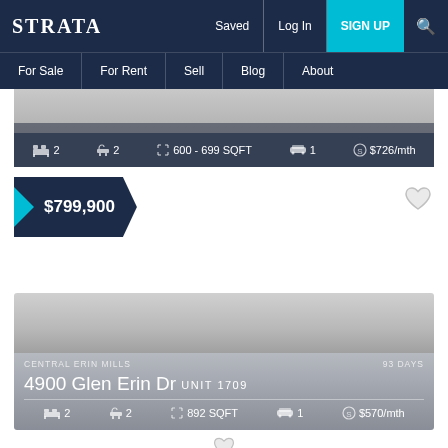STRATA | Saved | Log In | SIGN UP
For Sale | For Rent | Sell | Blog | About
[Figure (screenshot): Partial view of a property listing photo (top portion cut off)]
2  2  600 - 699 SQFT  1  $726/mth
$799,900
CENTRAL ERIN MILLS  93 DAYS
4900 Glen Erin Dr UNIT 1709
2  2  892 SQFT  1  $570/mth